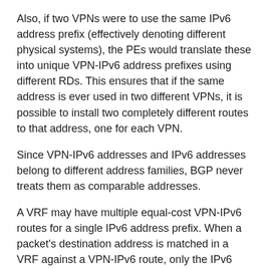Also, if two VPNs were to use the same IPv6 address prefix (effectively denoting different physical systems), the PEs would translate these into unique VPN-IPv6 address prefixes using different RDs. This ensures that if the same address is ever used in two different VPNs, it is possible to install two completely different routes to that address, one for each VPN.
Since VPN-IPv6 addresses and IPv6 addresses belong to different address families, BGP never treats them as comparable addresses.
A VRF may have multiple equal-cost VPN-IPv6 routes for a single IPv6 address prefix. When a packet's destination address is matched in a VRF against a VPN-IPv6 route, only the IPv6 part is actually matched.
The Route Distinguisher format and encoding is as specified in [BGP/MPLS-VPN].
When a site is IPv4 capable and IPv6 capable, the same RD